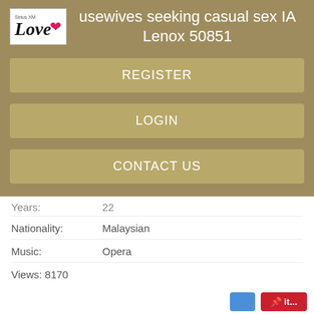[Figure (logo): SiriusXM Love logo with heart icon]
Housewives seeking casual sex IA Lenox 50851
REGISTER
LOGIN
CONTACT US
Years:  22
Nationality: Malaysian
Music:  Opera
Views: 8170